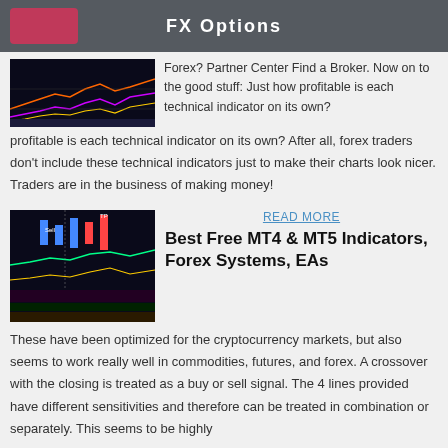FX Options
[Figure (screenshot): Forex chart with colored lines and indicators on dark background]
Forex? Partner Center Find a Broker. Now on to the good stuff: Just how profitable is each technical indicator on its own? After all, forex traders don't include these technical indicators just to make their charts look nicer. Traders are in the business of making money!
[Figure (screenshot): MT4/MT5 trading chart with sell/TP signals and colored indicators on dark background]
READ MORE
Best Free MT4 & MT5 Indicators, Forex Systems, EAs
These have been optimized for the cryptocurrency markets, but also seems to work really well in commodities, futures, and forex. A crossover with the closing is treated as a buy or sell signal. The 4 lines provided have different sensitivities and therefore can be treated in combination or separately. This seems to be highly